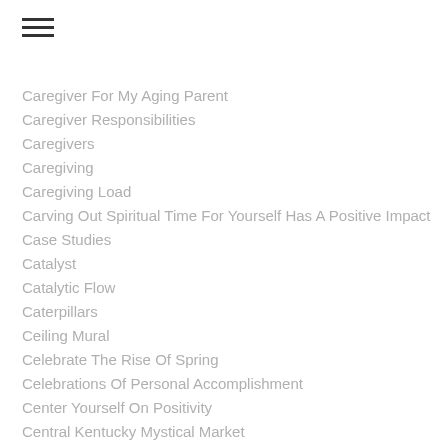☰
Caregiver For My Aging Parent
Caregiver Responsibilities
Caregivers
Caregiving
Caregiving Load
Carving Out Spiritual Time For Yourself Has A Positive Impact
Case Studies
Catalyst
Catalytic Flow
Caterpillars
Ceiling Mural
Celebrate The Rise Of Spring
Celebrations Of Personal Accomplishment
Center Yourself On Positivity
Central Kentucky Mystical Market
Certified Holistic Living And Wellness Expert And Certified Life Coach
Challenge